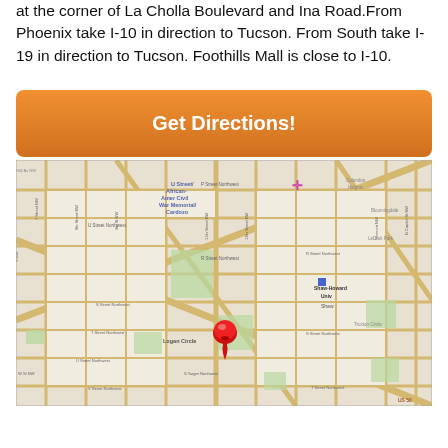at the corner of La Cholla Boulevard and Ina Road.From Phoenix take I-10 in direction to Tucson. From South take I-19 in direction to Tucson. Foothills Mall is close to I-10.
[Figure (other): Orange button labeled 'Get Directions!']
[Figure (map): Street map showing U Street/African-Amer Civil War Memorial/Cardozo area with a red location pin marker near Shaw-Howard Univ and Logan Circle area. Streets visible include U Street Northwest, 7th Street NW, 8th Street NW, various lettered streets. A pink cross symbol appears in upper right.]